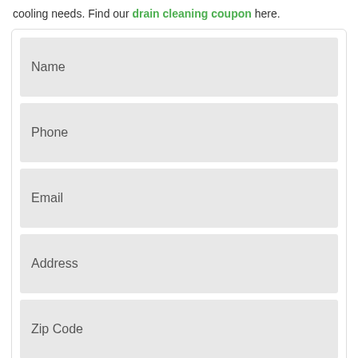cooling needs. Find our drain cleaning coupon here.
[Figure (other): A web form with fields: Name, Phone, Email, Address, Zip Code, and a dropdown for Service Needed?]